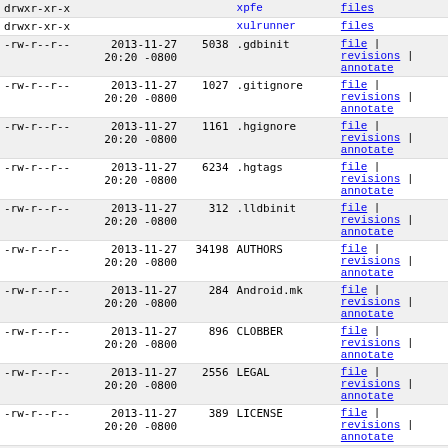| permissions | date | size | name | actions |
| --- | --- | --- | --- | --- |
| drwxr-xr-x |  |  | xpfe | files |
| drwxr-xr-x |  |  | xulrunner | files |
| -rw-r--r-- | 2013-11-27 20:20 -0800 | 5038 | .gdbinit | file | revisions | annotate |
| -rw-r--r-- | 2013-11-27 20:20 -0800 | 1027 | .gitignore | file | revisions | annotate |
| -rw-r--r-- | 2013-11-27 20:20 -0800 | 1161 | .hgignore | file | revisions | annotate |
| -rw-r--r-- | 2013-11-27 20:20 -0800 | 6234 | .hgtags | file | revisions | annotate |
| -rw-r--r-- | 2013-11-27 20:20 -0800 | 312 | .lldbinit | file | revisions | annotate |
| -rw-r--r-- | 2013-11-27 20:20 -0800 | 34198 | AUTHORS | file | revisions | annotate |
| -rw-r--r-- | 2013-11-27 20:20 -0800 | 284 | Android.mk | file | revisions | annotate |
| -rw-r--r-- | 2013-11-27 20:20 -0800 | 896 | CLOBBER | file | revisions | annotate |
| -rw-r--r-- | 2013-11-27 20:20 -0800 | 2556 | LEGAL | file | revisions | annotate |
| -rw-r--r-- | 2013-11-27 20:20 -0800 | 389 | LICENSE | file | revisions | annotate |
| -rw-r--r-- | 2013-11-27 20:20 -0800 | 9131 | Makefile.in | file | revisions | annotate |
| -rw-r--r-- | 2013-11-27 20:20 -0800 | 1254 | README.txt | file | revisions | annotate |